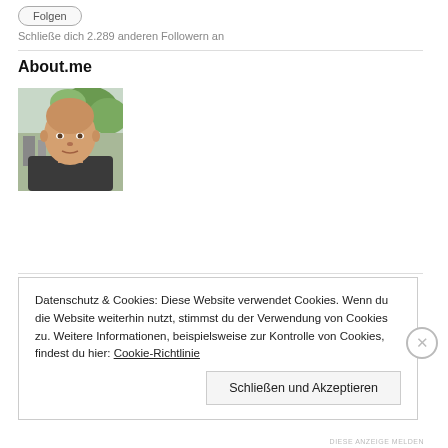Schließe dich 2.289 anderen Followern an
About.me
[Figure (photo): Portrait photo of a bald middle-aged man outdoors]
Datenschutz & Cookies: Diese Website verwendet Cookies. Wenn du die Website weiterhin nutzt, stimmst du der Verwendung von Cookies zu. Weitere Informationen, beispielsweise zur Kontrolle von Cookies, findest du hier: Cookie-Richtlinie
DIESE ANZEIGE MELDEN